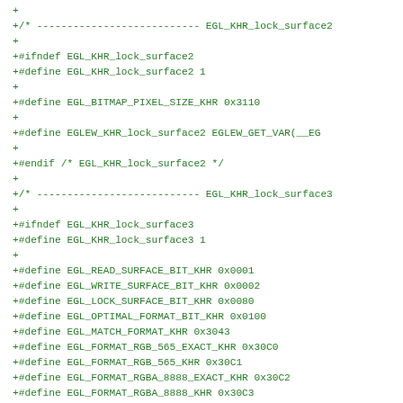+
+/* --------------------------- EGL_KHR_lock_surface2
+
+#ifndef EGL_KHR_lock_surface2
+#define EGL_KHR_lock_surface2 1
+
+#define EGL_BITMAP_PIXEL_SIZE_KHR 0x3110
+
+#define EGLEW_KHR_lock_surface2 EGLEW_GET_VAR(__EG
+
+#endif /* EGL_KHR_lock_surface2 */
+
+/* --------------------------- EGL_KHR_lock_surface3
+
+#ifndef EGL_KHR_lock_surface3
+#define EGL_KHR_lock_surface3 1
+
+#define EGL_READ_SURFACE_BIT_KHR 0x0001
+#define EGL_WRITE_SURFACE_BIT_KHR 0x0002
+#define EGL_LOCK_SURFACE_BIT_KHR 0x0080
+#define EGL_OPTIMAL_FORMAT_BIT_KHR 0x0100
+#define EGL_MATCH_FORMAT_KHR 0x3043
+#define EGL_FORMAT_RGB_565_EXACT_KHR 0x30C0
+#define EGL_FORMAT_RGB_565_KHR 0x30C1
+#define EGL_FORMAT_RGBA_8888_EXACT_KHR 0x30C2
+#define EGL_FORMAT_RGBA_8888_KHR 0x30C3
+#define EGL_MAP_PRESERVE_PIXELS_KHR 0x30C4
+#define EGL_LOCK_USAGE_HINT_KHR 0x30C5
+#define EGL_BITMAP_POINTER_KHR 0x30C6
+#define EGL_BITMAP_PITCH_KHR 0x30C7